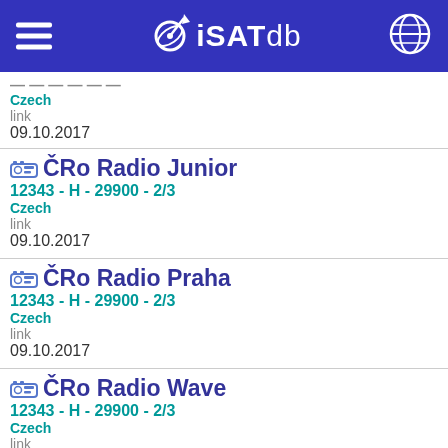iSATdb
Czech
link
09.10.2017
ČRo Radio Junior
12343 - H - 29900 - 2/3
Czech
link
09.10.2017
ČRo Radio Praha
12343 - H - 29900 - 2/3
Czech
link
09.10.2017
ČRo Radio Wave
12343 - H - 29900 - 2/3
Czech
link
09.10.2017